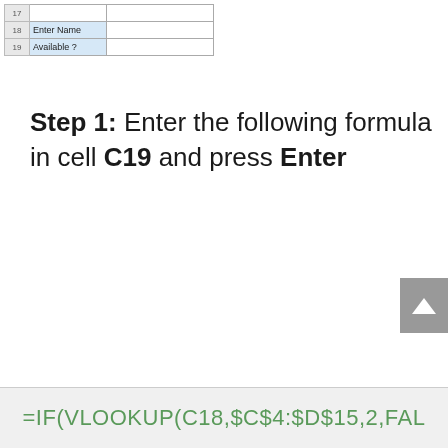[Figure (screenshot): Excel spreadsheet showing rows 17-19 with row numbers and two labeled cells: 'Enter Name' and 'Available ?' with adjacent empty cells]
Step 1: Enter the following formula in cell C19 and press Enter
=IF(VLOOKUP(C18,$C$4:$D$15,2,FAL